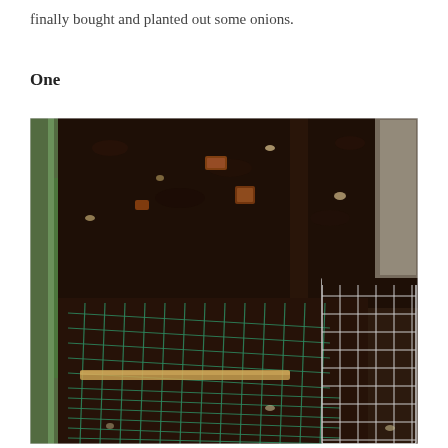finally bought and planted out some onions.
One
[Figure (photo): A garden bed with dark soil, covered partly by green mesh grid netting and a white wire grid frame. A wooden stick/stake is visible under the green netting. The garden bed is bordered by a glass or metal frame structure on the left. Some onion sets or debris are scattered on the bare soil area at the top.]